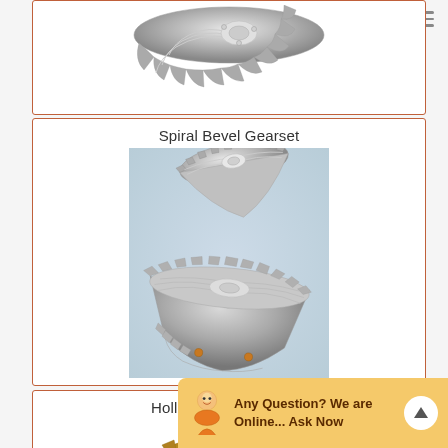[Figure (photo): Partial view of a spiral bevel gear (silver/metallic), cropped at top of page]
[Figure (photo): Spiral Bevel Gearset: two interlocking spiral bevel gears (silver/metallic finish) shown on light blue background]
Spiral Bevel Gearset
Hollow Worm Gear Set
[Figure (photo): Hollow Worm Gear Set: partial view of worm gear (gold/brass toned), cropped at bottom]
Any Question? We are Online... Ask Now